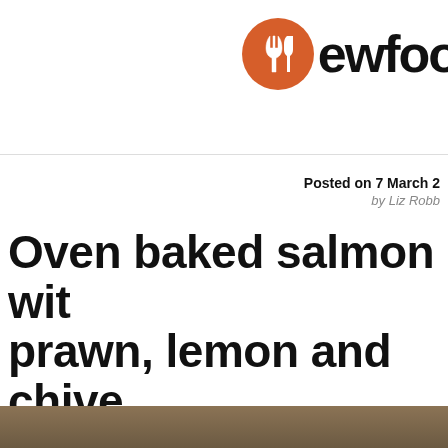EWfoo (logo with fork/knife icon)
Posted on 7 March 2
by Liz Robb
Oven baked salmon wit prawn, lemon and chive served with lightly steam and baby new potatoes midweek dinner or an ea dish.
[Figure (photo): Bottom strip of a food photo showing a dish]